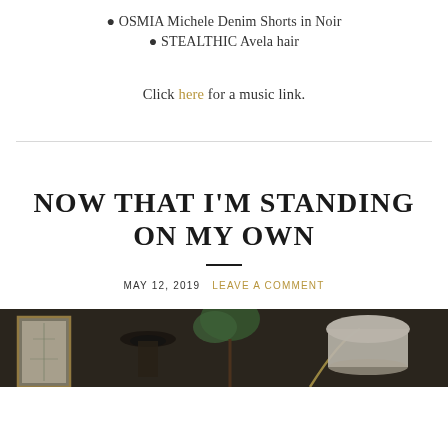OSMIA Michele Denim Shorts in Noir
STEALTHIC Avela hair
Click here for a music link.
NOW THAT I'M STANDING ON MY OWN
MAY 12, 2019  LEAVE A COMMENT
[Figure (photo): Interior room scene with a framed artwork, a person wearing a dark hat, green tropical plant, and a table lamp with white shade against a dark wall background.]